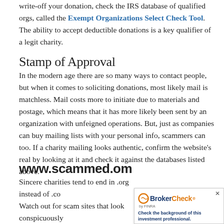write-off your donation, check the IRS database of qualified orgs, called the Exempt Organizations Select Check Tool. The ability to accept deductible donations is a key qualifier of a legit charity.
Stamp of Approval
In the modern age there are so many ways to contact people, but when it comes to soliciting donations, most likely mail is matchless. Mail costs more to initiate due to materials and postage, which means that it has more likely been sent by an organization with unfeigned operations. But, just as companies can buy mailing lists with your personal info, scammers can too. If a charity mailing looks authentic, confirm the website's real by looking at it and check it against the databases listed above.
www.scammed.om
Sincere charities tend to end in .org instead of .co... Watch out for scam sites that look conspicuously... organization they're emulating. For example inste...
[Figure (other): BrokerCheck by FINRA advertisement widget in bottom-right corner with orange circle logo, bold text 'BrokerCheck' and tagline 'Check the background of this investment professional.' with a close button (x).]